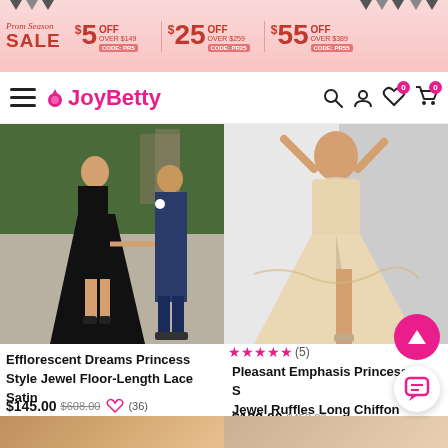[Figure (screenshot): Promotional banner for Prom Season Sale with pink background. Shows $5 OFF over $149 (CODE: PR5), $25 OFF over $259 (CODE: PR25), $55 OFF over $389 (CODE: PR55).]
JoyBetty — navigation bar with hamburger menu, logo, search, account, wishlist (0), and cart (0) icons
[Figure (photo): Black long-sleeve princess style lace satin dress worn by woman holding hands with man in navy suit outdoors on pavement]
[Figure (photo): Champagne/blush chiffon princess dress with ruffles and jewel neckline, worn by woman in studio]
★★★★★ (5)
Efflorescent Dreams Princess Style Jewel Floor-Length Lace Satin
$145.00  $608.00  ♡  (36)
Pleasant Emphasis Princess Style Jewel Ruffles Long Chiffon
$132.00  $458.00